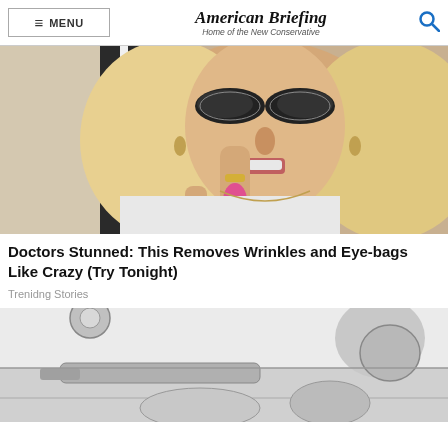MENU | American Briefing — Home of the New Conservative
[Figure (photo): Close-up photo of a blonde woman with elaborate black lace-like eye makeup, holding up a finger near her face with pink nail polish]
Doctors Stunned: This Removes Wrinkles and Eye-bags Like Crazy (Try Tonight)
Trenidng Stories
[Figure (illustration): Grayscale cartoon/illustration showing hands or mechanical elements on a light gray background]